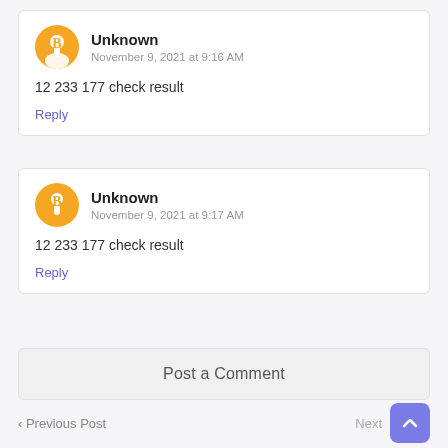Unknown
November 9, 2021 at 9:16 AM
12 233 177 check result
Reply
Unknown
November 9, 2021 at 9:17 AM
12 233 177 check result
Reply
Post a Comment
< Previous Post   Next